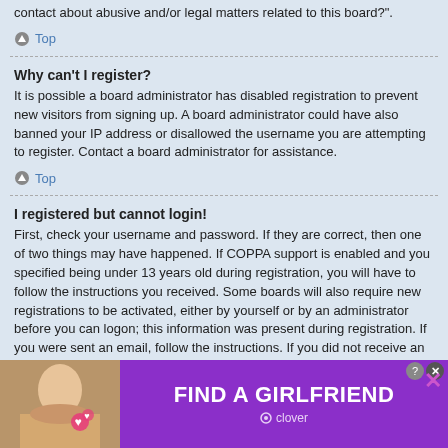contact about abusive and/or legal matters related to this board?".
Top
Why can't I register?
It is possible a board administrator has disabled registration to prevent new visitors from signing up. A board administrator could have also banned your IP address or disallowed the username you are attempting to register. Contact a board administrator for assistance.
Top
I registered but cannot login!
First, check your username and password. If they are correct, then one of two things may have happened. If COPPA support is enabled and you specified being under 13 years old during registration, you will have to follow the instructions you received. Some boards will also require new registrations to be activated, either by yourself or by an administrator before you can logon; this information was present during registration. If you were sent an email, follow the instructions. If you did not receive an email, you may have provided an incorrect email address or the email may have been picked up by a spam filer. If you are sure the email address you provided is correct, try contacting an administrator
[Figure (advertisement): FIND A GIRLFRIEND - Clover dating app advertisement with woman photo and pink hearts]